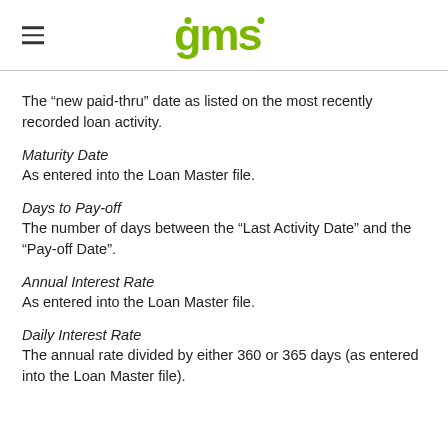gms
The “new paid-thru” date as listed on the most recently recorded loan activity.
Maturity Date
As entered into the Loan Master file.
Days to Pay-off
The number of days between the “Last Activity Date” and the “Pay-off Date”.
Annual Interest Rate
As entered into the Loan Master file.
Daily Interest Rate
The annual rate divided by either 360 or 365 days (as entered into the Loan Master file).